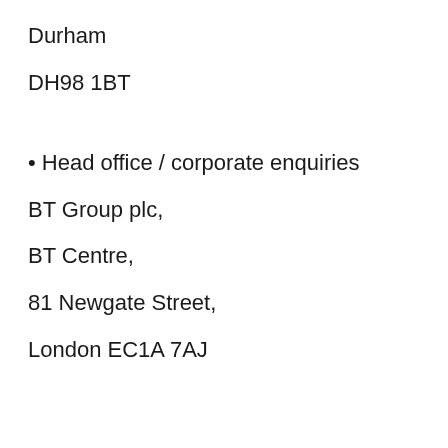Durham
DH98 1BT
• Head office / corporate enquiries
BT Group plc,
BT Centre,
81 Newgate Street,
London EC1A 7AJ